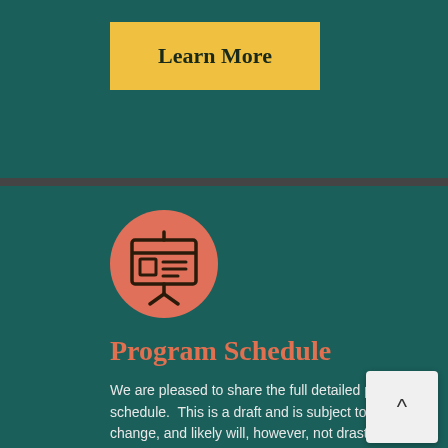Learn More
[Figure (illustration): Orange circle with a presentation board/screen icon (projector slide icon) in dark color on teal background]
Program Schedule
We are pleased to share the full detailed program schedule.  This is a draft and is subject to change, and likely will, however, not drastically. We look forward to seeing you soon.